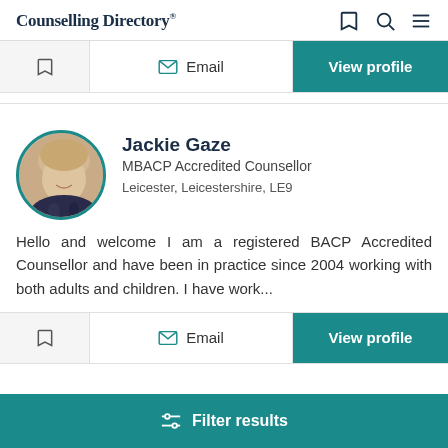Counselling Directory
[Figure (screenshot): Action bar with bookmark, Email, and View profile buttons]
[Figure (photo): Profile photo of Jackie Gaze, circular with teal border]
Jackie Gaze
MBACP Accredited Counsellor
Leicester, Leicestershire, LE9
Hello and welcome I am a registered BACP Accredited Counsellor and have been in practice since 2004 working with both adults and children. I have work...
[Figure (screenshot): Second action bar with bookmark, Email, and View profile buttons]
Filter results